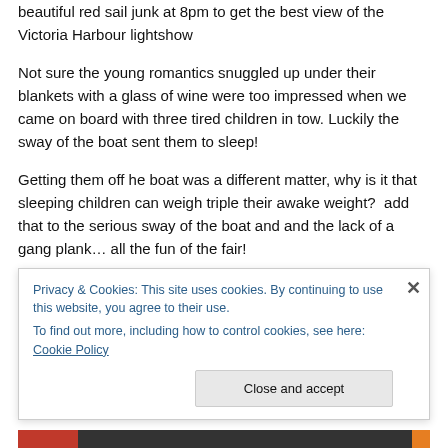beautiful red sail junk at 8pm to get the best view of the Victoria Harbour lightshow
Not sure the young romantics snuggled up under their blankets with a glass of wine were too impressed when we came on board with three tired children in tow. Luckily the sway of the boat sent them to sleep!
Getting them off he boat was a different matter, why is it that sleeping children can weigh triple their awake weight?  add that to the serious sway of the boat and and the lack of a gang plank… all the fun of the fair!
Privacy & Cookies: This site uses cookies. By continuing to use this website, you agree to their use.
To find out more, including how to control cookies, see here: Cookie Policy